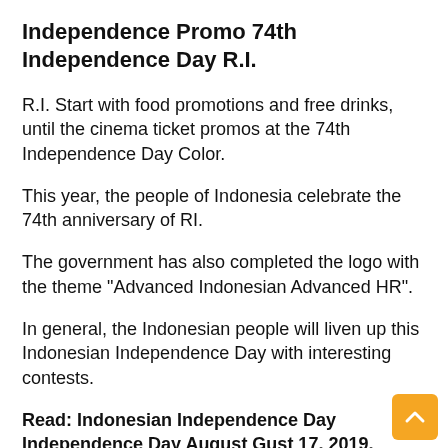Independence Promo 74th Independence Day R.I.
R.I. Start with food promotions and free drinks, until the cinema ticket promos at the 74th Independence Day Color.
This year, the people of Indonesia celebrate the 74th anniversary of RI.
The government has also completed the logo with the theme "Advanced Indonesian Advanced HR".
In general, the Indonesian people will liven up this Indonesian Independence Day with interesting contests.
Read: Indonesian Independence Day Independence Day August Gust 17, 2019, Discount TIX ID Tickets in All Film Titles, RP. 17,000